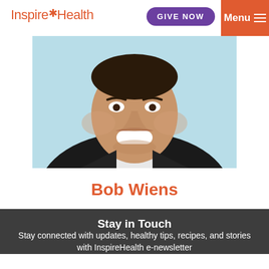InspireHealth
[Figure (photo): Close-up headshot of a smiling man in a dark suit against a light blue background, cropped to show lower face, neck and shoulders]
Bob Wiens
Stay in Touch
Stay connected with updates, healthy tips, recipes, and stories with InspireHealth e-newsletter